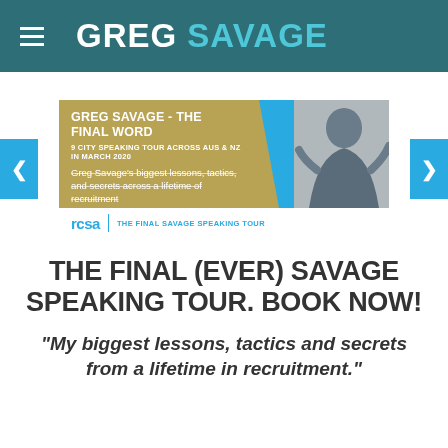GREG SAVAGE
[Figure (photo): Greg Savage - The Final Word banner ad. 9 City Speaking Tour across AUS & NZ in March 2020. Greg Savage's biggest lessons, tactics, and secrets across a lifetime of recruitment. RCSA logo. The Final Savage Speaking Tour.]
THE FINAL (EVER) SAVAGE SPEAKING TOUR. BOOK NOW!
“My biggest lessons, tactics and secrets from a lifetime in recruitment.”